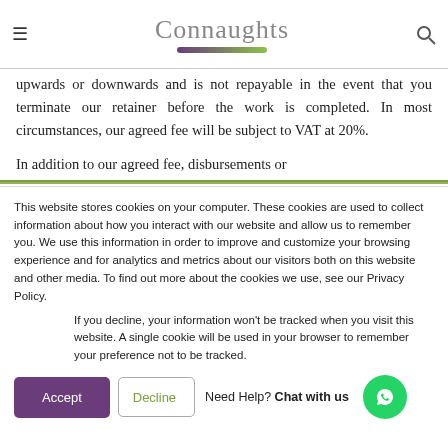Connaughts
upwards or downwards and is not repayable in the event that you terminate our retainer before the work is completed. In most circumstances, our agreed fee will be subject to VAT at 20%.
In addition to our agreed fee, disbursements or
This website stores cookies on your computer. These cookies are used to collect information about how you interact with our website and allow us to remember you. We use this information in order to improve and customize your browsing experience and for analytics and metrics about our visitors both on this website and other media. To find out more about the cookies we use, see our Privacy Policy.
If you decline, your information won't be tracked when you visit this website. A single cookie will be used in your browser to remember your preference not to be tracked.
Accept | Decline | Need Help? Chat with us